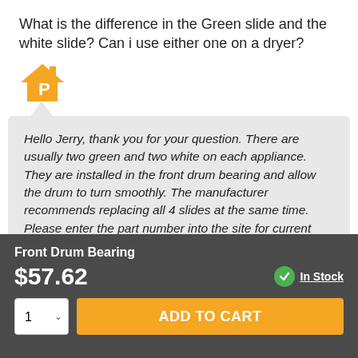What is the difference in the Green slide and the white slide? Can i use either one on a dryer?
[Figure (logo): Orange house icon with letter P inside, representing a parts/appliance brand logo]
Hello Jerry, thank you for your question. There are usually two green and two white on each appliance. They are installed in the front drum bearing and allow the drum to turn smoothly. The manufacturer recommends replacing all 4 slides at the same time. Please enter the part number into the site for current price and availability. Good luck with your repair!
Front Drum Bearing
$57.62
In Stock
ADD TO CART